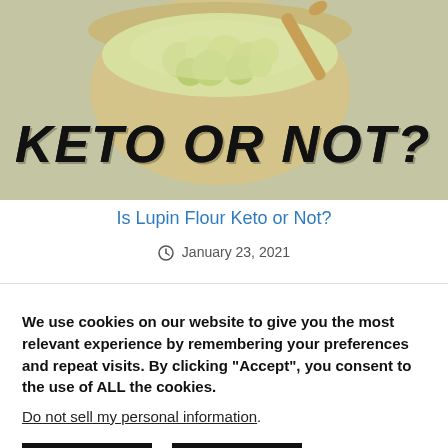[Figure (photo): A bowl of light green/yellow lupin flour with a wooden spoon, on a fabric background. Text overlay reads 'KETO OR NOT?' in large black handwritten-style font.]
Is Lupin Flour Keto or Not?
January 23, 2021
We use cookies on our website to give you the most relevant experience by remembering your preferences and repeat visits. By clicking "Accept", you consent to the use of ALL the cookies.
Do not sell my personal information.
Settings  Accept